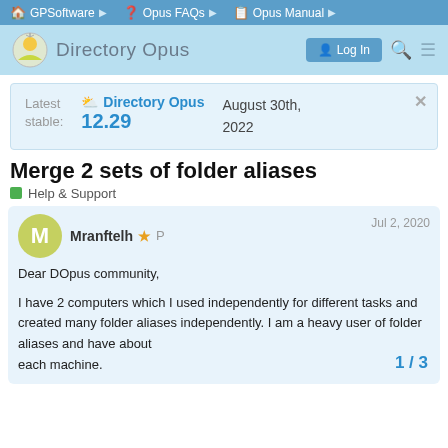GPSoftware | Opus FAQs | Opus Manual
Directory Opus — Log In
Latest stable: Directory Opus 12.29 — August 30th, 2022
Merge 2 sets of folder aliases
Help & Support
Mranftelh ★ P — Jul 2, 2020
Dear DOpus community,

I have 2 computers which I used independently for different tasks and created many folder aliases independently. I am a heavy user of folder aliases and have about ... on each machine.
1 / 3